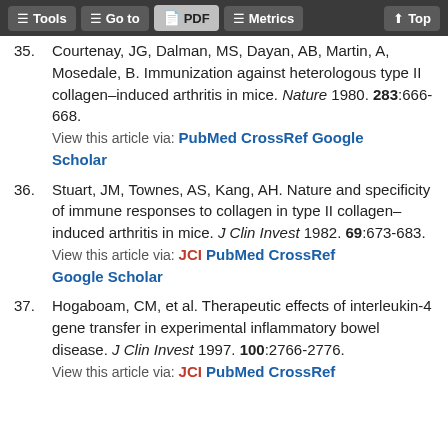Tools | Go to | PDF | Metrics | Top
35. Courtenay, JS; Dalman, MS; Dayan, AB; Martin, A, Mosedale, B. Immunization against heterologous type II collagen–induced arthritis in mice. Nature 1980. 283:666-668. View this article via: PubMed CrossRef Google Scholar
36. Stuart, JM, Townes, AS, Kang, AH. Nature and specificity of immune responses to collagen in type II collagen–induced arthritis in mice. J Clin Invest 1982. 69:673-683. View this article via: JCI PubMed CrossRef Google Scholar
37. Hogaboam, CM, et al. Therapeutic effects of interleukin-4 gene transfer in experimental inflammatory bowel disease. J Clin Invest 1997. 100:2766-2776. View this article via: JCI PubMed CrossRef